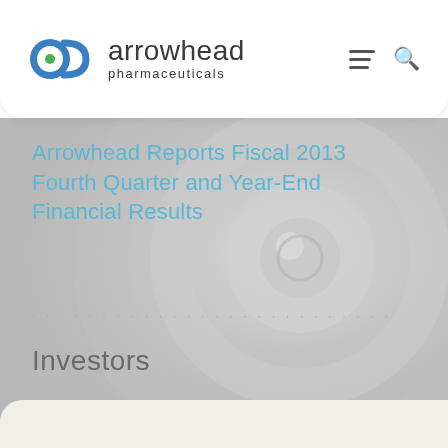[Figure (logo): Arrowhead Pharmaceuticals logo — circular blue and green icon with company name]
Arrowhead Reports Fiscal 2013 Fourth Quarter and Year-End Financial Results
· · · · · · · · · · · · · · · · · · · · · · · · · · ·
Investors
[Figure (illustration): Abstract grey circular rings and spheres decorative background]